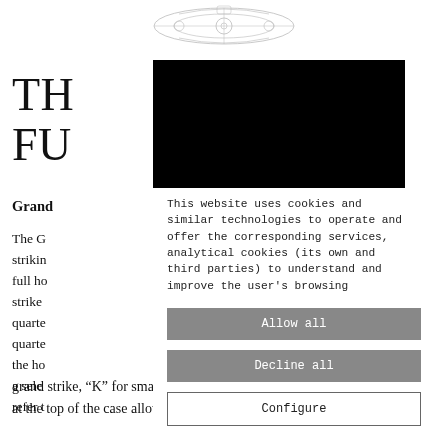[Figure (illustration): Decorative engraving / mechanical illustration at top center of page]
THE
FU
[Figure (other): Black redacted rectangle overlaying title area]
Grand
The G                                              vith a
strikin                                            each
full ho                                            d
strike                                             h the
quarte                                             
quarte                                             our
the ho                                             with
a sele                                             tters
refer t
grand strike, “K” for small strike. The selector
at the top of the case allows the striking
This website uses cookies and similar technologies to operate and offer the corresponding services, analytical cookies (its own and third parties) to understand and improve the user’s browsing
Allow all
Decline all
Configure